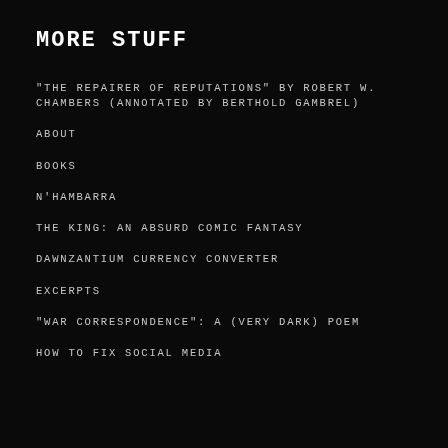MORE STUFF
“THE REPAIRER OF REPUTATIONS” BY ROBERT W. CHAMBERS (ANNOTATED BY BERTHOLD GAMBREL)
ABOUT
BOOKS
N’HAMBARRA
THE KING: AN ABSURD COMIC FANTASY
DAWNZANTIUM CURRENCY CONVERTER
EXCERPTS
“WAR CORRESPONDENCE”: A (VERY DARK) POEM
HOW TO FIX SOCIAL MEDIA